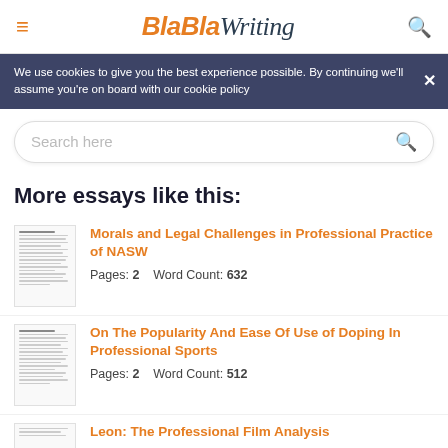BlaBlaWriting
We use cookies to give you the best experience possible. By continuing we'll assume you're on board with our cookie policy
Search here
More essays like this:
[Figure (illustration): Thumbnail of essay document with lines of text]
Morals and Legal Challenges in Professional Practice of NASW
Pages: 2   Word Count: 632
[Figure (illustration): Thumbnail of essay document with lines of text]
On The Popularity And Ease Of Use of Doping In Professional Sports
Pages: 2   Word Count: 512
[Figure (illustration): Thumbnail of essay document with lines of text]
Leon: The Professional Film Analysis